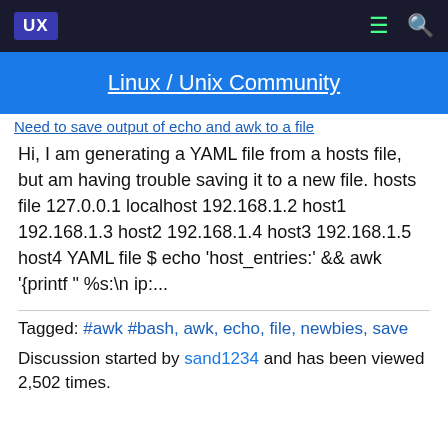UX | Linux / Unix Community
Linux / Unix Community
Need to save output of echo and awk to a file
Hi, I am generating a YAML file from a hosts file, but am having trouble saving it to a new file. hosts file 127.0.0.1 localhost 192.168.1.2 host1 192.168.1.3 host2 192.168.1.4 host3 192.168.1.5 host4 YAML file $ echo 'host_entries:' && awk '{printf " %s:\n ip:...
Tagged: #awk #bash, awk, echo, file, newbies, save
Discussion started by sand1234 and has been viewed 2,502 times.